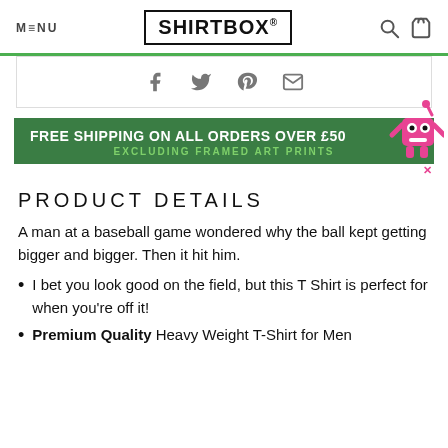MENU  SHIRTBOX®  [search] [bag]
[Figure (other): Social share icons: Facebook, Twitter, Pinterest, Email]
[Figure (infographic): Green banner: FREE SHIPPING ON ALL ORDERS OVER £50 / EXCLUDING FRAMED ART PRINTS, with pink robot mascot]
PRODUCT DETAILS
A man at a baseball game wondered why the ball kept getting bigger and bigger. Then it hit him.
I bet you look good on the field, but this T Shirt is perfect for when you're off it!
Premium Quality Heavy Weight T-Shirt for Men